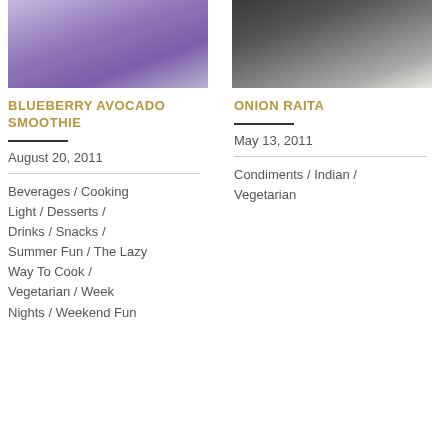[Figure (photo): Blueberry avocado smoothie in a glass with purple/violet color, garnished with a mint leaf, on a blue background]
[Figure (photo): Onion raita in a dark bowl, creamy white with green herb garnish]
BLUEBERRY AVOCADO SMOOTHIE
ONION RAITA
August 20, 2011
May 13, 2011
Beverages / Cooking Light / Desserts / Drinks / Snacks / Summer Fun / The Lazy Way To Cook / Vegetarian / Week Nights / Weekend Fun
Condiments / Indian / Vegetarian